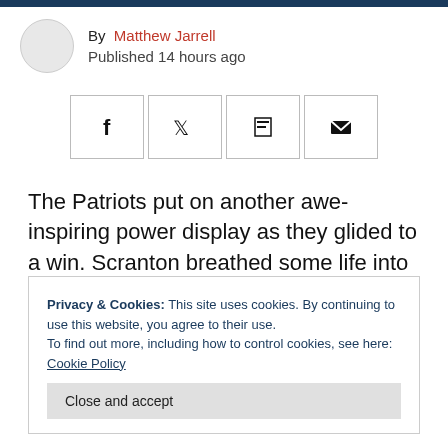By Matthew Jarrell
Published 14 hours ago
[Figure (other): Social share buttons: Facebook, Twitter, Flipboard, Email]
The Patriots put on another awe-inspiring power display as they glided to a win. Scranton breathed some life into their playoff hopes in Nebraska, and we wave goodbye to the DSL.
Privacy & Cookies: This site uses cookies. By continuing to use this website, you agree to their use.
To find out more, including how to control cookies, see here: Cookie Policy